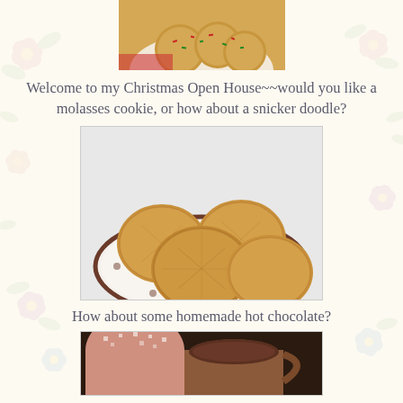[Figure (photo): Photo of colorful Christmas sugar cookies with red and green sprinkles on a plate, partially visible at the top of the page]
Welcome to my Christmas Open House~~would you like a molasses cookie, or how about a snicker doodle?
[Figure (photo): Photo of golden-brown snickerdoodle cookies stacked on a decorative brown and white floral plate]
How about some homemade hot chocolate?
[Figure (photo): Photo of homemade hot chocolate in a rustic mug or pot, partially visible at bottom of page]